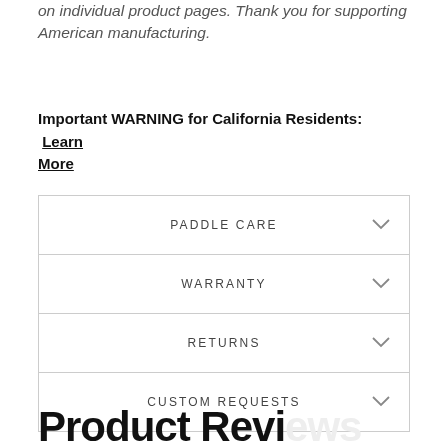on individual product pages. Thank you for supporting American manufacturing.
Important WARNING for California Residents: Learn More
PADDLE CARE
WARRANTY
RETURNS
CUSTOM REQUESTS
Product Reviews